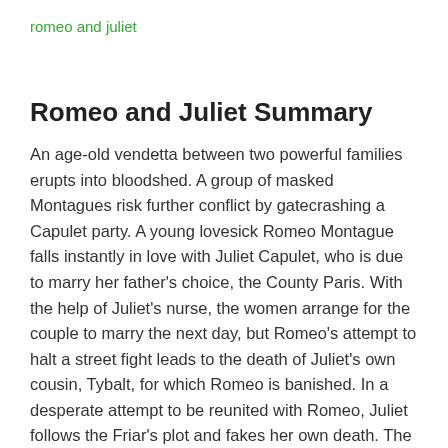romeo and juliet
Romeo and Juliet Summary
An age-old vendetta between two powerful families erupts into bloodshed. A group of masked Montagues risk further conflict by gatecrashing a Capulet party. A young lovesick Romeo Montague falls instantly in love with Juliet Capulet, who is due to marry her father’s choice, the County Paris. With the help of Juliet's nurse, the women arrange for the couple to marry the next day, but Romeo’s attempt to halt a street fight leads to the death of Juliet’s own cousin, Tybalt, for which Romeo is banished. In a desperate attempt to be reunited with Romeo, Juliet follows the Friar’s plot and fakes her own death. The message fails to reach Romeo, and believing Juliet dead, he takes his life in her tomb. Juliet wakes to find Romeo's corpse beside her and kills herself. The